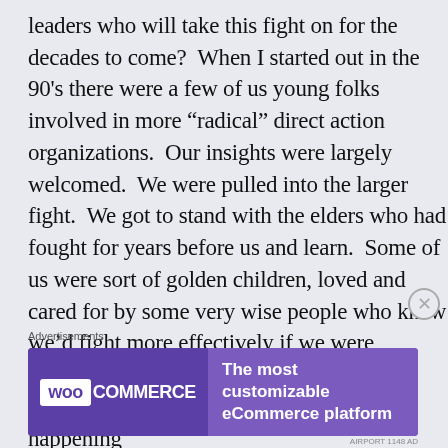leaders who will take this fight on for the decades to come?  When I started out in the 90's there were a few of us young folks involved in more “radical” direct action organizations.  Our insights were largely welcomed.  We were pulled into the larger fight.  We got to stand with the elders who had fought for years before us and learn.  Some of us were sort of golden children, loved and cared for by some very wise people who knew we’d fight more effectively if we were stronger and that they could give us that strength.   I’m not always sure that’s happening
Advertisements
[Figure (other): WooCommerce advertisement banner: left side shows WooCommerce logo (WOO in white box followed by COMMERCE in white text on purple background), right side shows text 'The most customizable eCommerce platform' on lighter purple background]